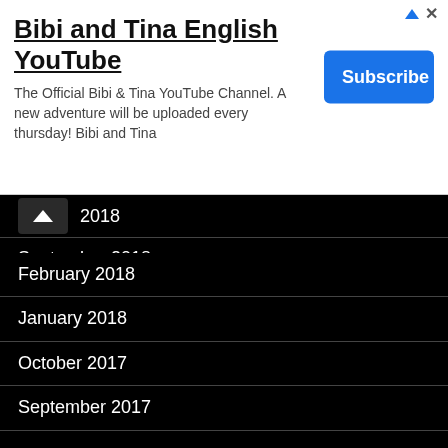[Figure (screenshot): YouTube advertisement banner for 'Bibi and Tina English YouTube' channel with Subscribe button]
2018
September 2018
August 2018
July 2018
May 2018
April 2018
February 2018
January 2018
October 2017
September 2017